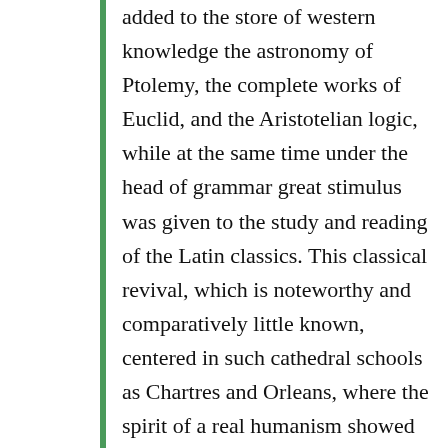added to the store of western knowledge the astronomy of Ptolemy, the complete works of Euclid, and the Aristotelian logic, while at the same time under the head of grammar great stimulus was given to the study and reading of the Latin classics. This classical revival, which is noteworthy and comparatively little known, centered in such cathedral schools as Chartres and Orleans, where the spirit of a real humanism showed itself in an enthusiastic study of ancient authors and in the production of Latin verse of a really remarkable quality. Certain writings of one of these poets, Bishop Hildebert of Le Mans, were even mistaken for “real antiques” by later humanists. Nevertheless, though brilliant, this classical movement was short-lived, crushed in its early youth by the triumph of logic and the more practical studies of law and rhetoric. In the later twelfth century John of Salisbury inveighs against